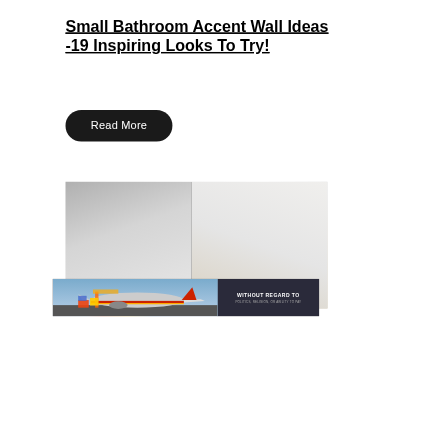Small Bathroom Accent Wall Ideas -19 Inspiring Looks To Try!
Read More
[Figure (photo): Close-up of two light gray/white wall panels or board pieces meeting at an angle, with a warm beige/tan background visible on the right side.]
[Figure (photo): Advertisement banner showing an airplane being loaded with cargo on a tarmac, with colorful freight containers. Dark overlay on the right with text 'WITHOUT REGARD TO POLITICS, RELIGION, OR ABILITY TO PAY'.]